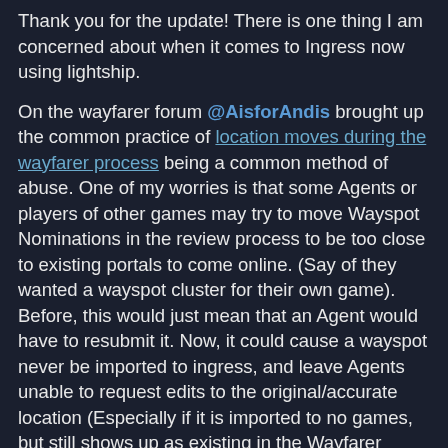Thank you for the update! There is one thing I am concerned about when it comes to Ingress now using lightship.
On the wayfarer forum @AisforAndis brought up the common practice of location moves during the wayfarer process being a common method of abuse. One of my worries is that some Agents or players of other games may try to move Wayspot Nominations in the review process to be too close to existing portals to come online. (Say of they wanted a wayspot cluster for their own game). Before, this would just mean that an Agent would have to resubmit it. Now, it could cause a wayspot never be imported to ingress, and leave Agents unable to request edits to the original/accurate location (Especially if it is imported to no games, but still shows up as existing in the Wayfarer review process). And if both locations were accurate, but one would harm Ingress, Ingress would more often than not be harmed than not due to the lack of distance restrictions benefitting other games clustering portals together closely.
Since Ingress, unlike other Niantic properties, only has the POIs as things to interact with in game, this could harm a lot of areas, especially for Agents on the moniroty side in certain areas that may be trying to add more portals in their area. Is there anything